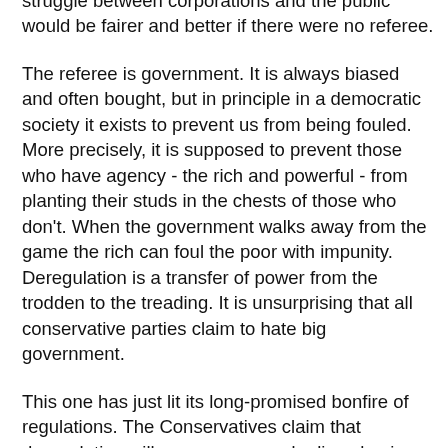asked to imagine that the outcome of the power struggle between corporations and the public would be fairer and better if there were no referee.
The referee is government. It is always biased and often bought, but in principle in a democratic society it exists to prevent us from being fouled. More precisely, it is supposed to prevent those who have agency - the rich and powerful - from planting their studs in the chests of those who don't. When the government walks away from the game the rich can foul the poor with impunity. Deregulation is a transfer of power from the trodden to the treading. It is unsurprising that all conservative parties claim to hate big government.
This one has just lit its long-promised bonfire of regulations. The Conservatives claim that deregulation will save money and relieve business of unnecessary burdens. But the government's new policies go far beyond simplifying a cumbersome bureaucracy.
Last week the health secretary Andrew Lansley sought to shift responsibility for improving diets and preventing obesity